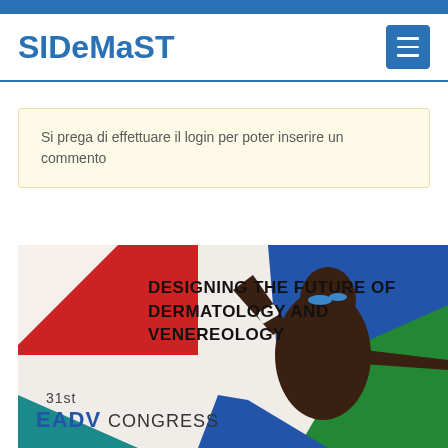SIDeMaST
Si prega di effettuare il login per poter inserire un commento
[Figure (illustration): 31st EADV Congress promotional banner with text 'DESIGNING THE FUTURE OF DERMATOLOGY AND VENEREOLOGY' overlaid on colorful geometric shapes (red, blue, green, teal triangles) and a dark-skinned model with blue eyeshadow raising one arm. Text at bottom reads '31st EADV CONGRESS'.]